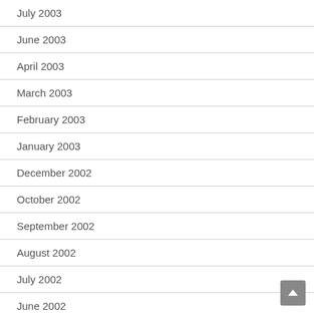July 2003
June 2003
April 2003
March 2003
February 2003
January 2003
December 2002
October 2002
September 2002
August 2002
July 2002
June 2002
May 2002